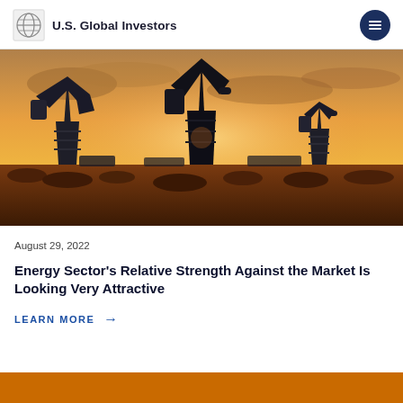U.S. Global Investors
[Figure (photo): Oil pump jacks silhouetted against a warm orange sunset sky, with desert scrubland in the foreground]
August 29, 2022
Energy Sector's Relative Strength Against the Market Is Looking Very Attractive
LEARN MORE →